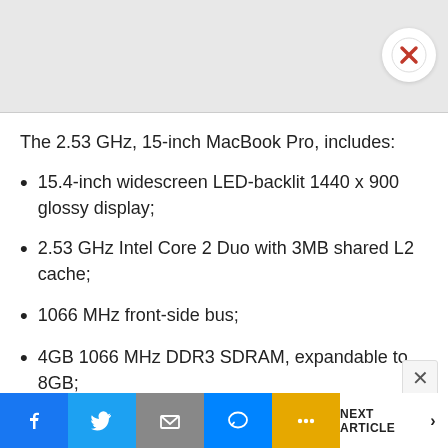[Figure (screenshot): Gray image area at top of page (partially visible product image)]
The 2.53 GHz, 15-inch MacBook Pro, includes:
15.4-inch widescreen LED-backlit 1440 x 900 glossy display;
2.53 GHz Intel Core 2 Duo with 3MB shared L2 cache;
1066 MHz front-side bus;
4GB 1066 MHz DDR3 SDRAM, expandable to 8GB;
Facebook | Twitter | Email | Messenger | More | NEXT ARTICLE >